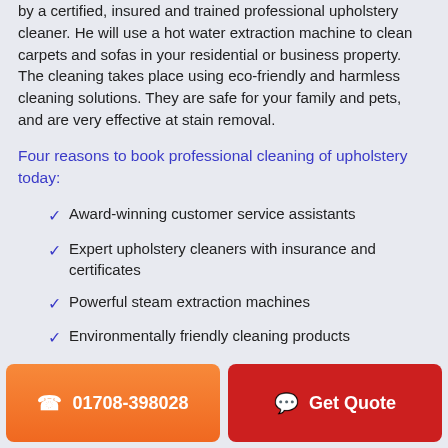by a certified, insured and trained professional upholstery cleaner. He will use a hot water extraction machine to clean carpets and sofas in your residential or business property. The cleaning takes place using eco-friendly and harmless cleaning solutions. They are safe for your family and pets, and are very effective at stain removal.
Four reasons to book professional cleaning of upholstery today:
Award-winning customer service assistants
Expert upholstery cleaners with insurance and certificates
Powerful steam extraction machines
Environmentally friendly cleaning products
01708-398028  Get Quote